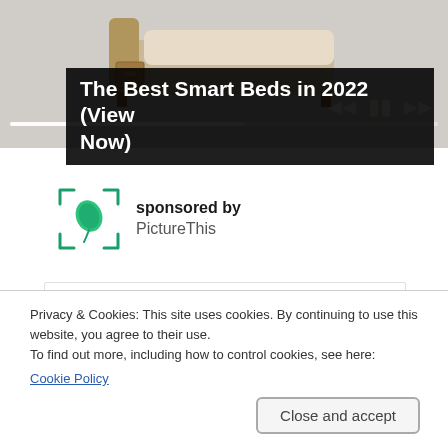[Figure (screenshot): Screenshot of a webpage showing a bed product image with media player controls and a progress bar at the top. Below the image is a 'sponsored by PictureThis' section with green leaf logo. A white content box and a cookie consent banner are at the bottom.]
The Best Smart Beds in 2022 (View Now)
sponsored by PictureThis
Privacy & Cookies: This site uses cookies. By continuing to use this website, you agree to their use.
To find out more, including how to control cookies, see here:
Cookie Policy
Close and accept